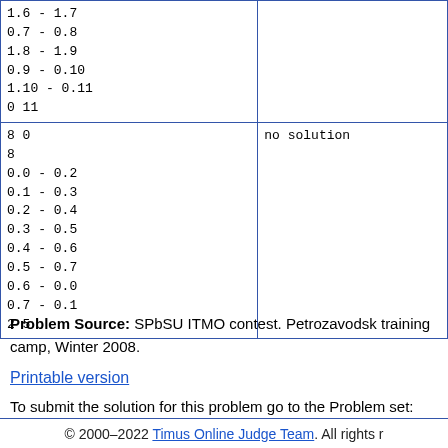| Input | Output |
| --- | --- |
| 1.6 - 1.7
0.7 - 0.8
1.8 - 1.9
0.9 - 0.10
1.10 - 0.11
0 11 |  |
| 8 0
8
0.0 - 0.2
0.1 - 0.3
0.2 - 0.4
0.3 - 0.5
0.4 - 0.6
0.5 - 0.7
0.6 - 0.0
0.7 - 0.1
2 5 | no solution |
Problem Source: SPbSU ITMO contest. Petrozavodsk training camp, Winter 2008.
Printable version
To submit the solution for this problem go to the Problem set:
1623. Fractal Labyrinth
© 2000–2022 Timus Online Judge Team. All rights r